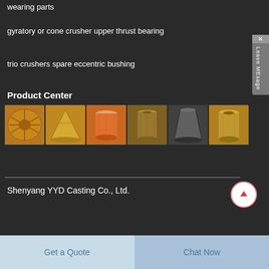wearing parts
gyratory or cone crusher upper thrust bearing
trio crushers spare eccentric bushing
Product Center
[Figure (photo): Six product photos in a row showing copper/bronze crusher wear parts: a flat disc with holes, a cone-shaped part, an orange cylindrical bushing, a tall cylindrical bushing, a tapered shaft/cone, and a gold-colored cylindrical bushing]
Shenyang YYD Casting Co., Ltd.